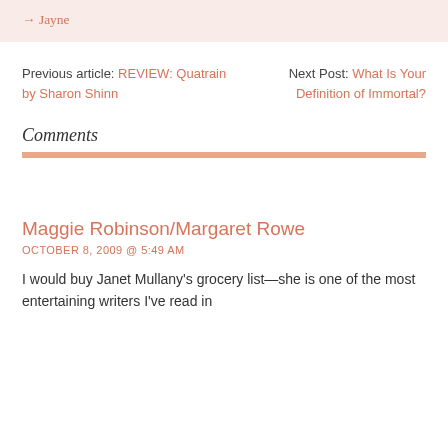→ Jayne
Previous article: REVIEW: Quatrain by Sharon Shinn
Next Post: What Is Your Definition of Immortal?
Comments
Maggie Robinson/Margaret Rowe
OCTOBER 8, 2009 @ 5:49 AM
I would buy Janet Mullany's grocery list—she is one of the most entertaining writers I've read in